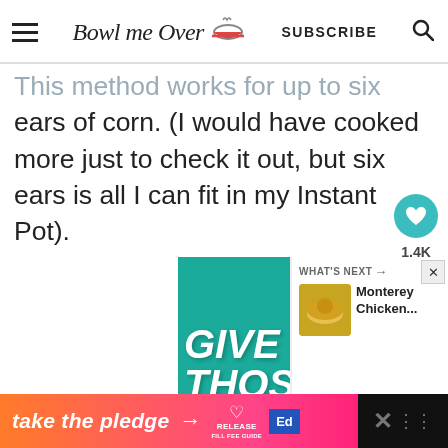Bowl me Over | SUBSCRIBE
This method works for up to six ears of corn. (I would have cooked more just to check it out, but six ears is all I can fit in my Instant Pot).
[Figure (screenshot): Advertisement banner with teal background showing 'GIVE ME THOSE' text in large white bold italic font, with close button]
[Figure (infographic): What's Next panel showing Monterey Chicken... with food image]
take the pledge → RELEASE